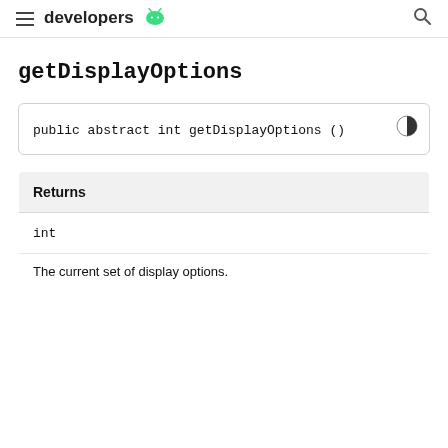developers [android] [search]
getDisplayOptions
| Returns |  |
| --- | --- |
| int |  |
| The current set of display options. |  |